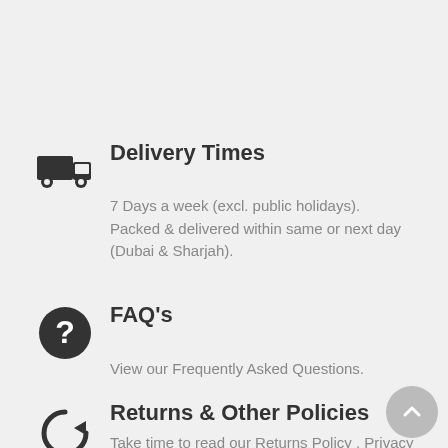Delivery Times
7 Days a week (excl. public holidays). Packed & delivered within same or next day (Dubai & Sharjah).
FAQ's
View our Frequently Asked Questions.
Returns & Other Policies
Take time to read our Returns Policy , Privacy Policy